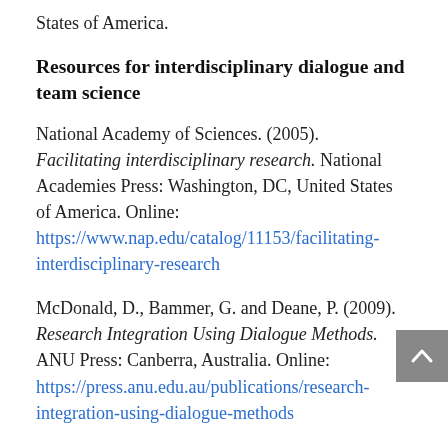States of America.
Resources for interdisciplinary dialogue and team science
National Academy of Sciences. (2005). Facilitating interdisciplinary research. National Academies Press: Washington, DC, United States of America. Online: https://www.nap.edu/catalog/11153/facilitating-interdisciplinary-research
McDonald, D., Bammer, G. and Deane, P. (2009). Research Integration Using Dialogue Methods. ANU Press: Canberra, Australia. Online: https://press.anu.edu.au/publications/research-integration-using-dialogue-methods